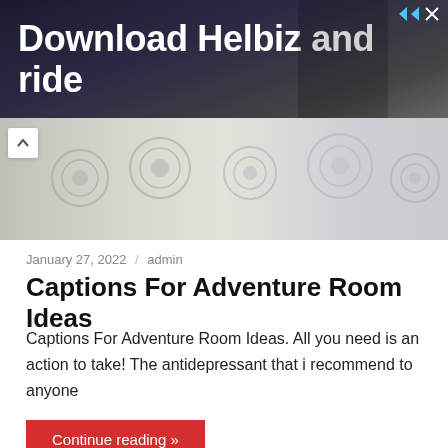[Figure (photo): Advertisement banner with dark background showing a person with a scooter. Text reads 'Download Helbiz and ride']
[Figure (photo): Photo strip showing decorative pillows or cushions with floral/rosette patterns in grey/white tones]
January 27, 2022 / admin
Captions For Adventure Room Ideas
Captions For Adventure Room Ideas. All you need is an action to take! The antidepressant that i recommend to anyone
Continue reading »
[Figure (photo): Bottom image with blue gradient background, partially visible]